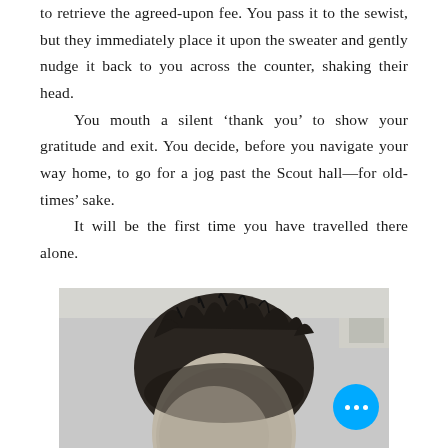to retrieve the agreed-upon fee. You pass it to the sewist, but they immediately place it upon the sweater and gently nudge it back to you across the counter, shaking their head.

You mouth a silent ‘thank you’ to show your gratitude and exit. You decide, before you navigate your way home, to go for a jog past the Scout hall—for old-times’ sake.

It will be the first time you have travelled there alone.
[Figure (photo): Black and white photograph showing the top of a person's head with dark spiky hair, cropped at eye level. A blue circular button with three white dots (ellipsis) is overlaid in the bottom-right corner.]